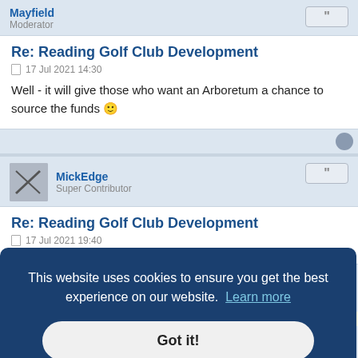Mayfield
Moderator
Re: Reading Golf Club Development
17 Jul 2021 14:30
Well - it will give those who want an Arboretum a chance to source the funds 🙂
MickEdge
Super Contributor
Re: Reading Golf Club Development
17 Jul 2021 19:40
This website uses cookies to ensure you get the best experience on our website. Learn more
Got it!
Mayfield
Moderator